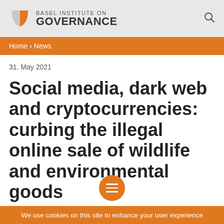BASEL INSTITUTE ON GOVERNANCE
Home › News
31. May 2021
Social media, dark web and cryptocurrencies: curbing the illegal online sale of wildlife and environmental goods
We use cookies on this site to enhance your user experience